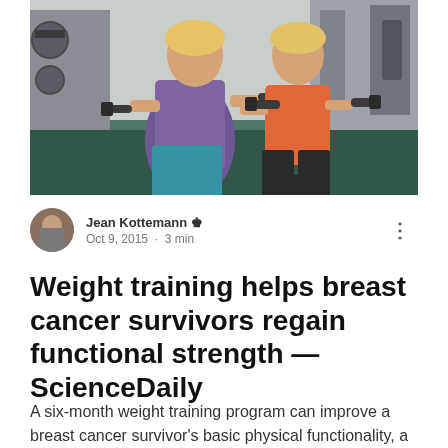[Figure (photo): Two athletic women in gym workout attire doing dumbbell exercises in a weight training facility]
Jean Kottemann 👑
Oct 9, 2015 · 3 min
Weight training helps breast cancer survivors regain functional strength — ScienceDaily
A six-month weight training program can improve a breast cancer survivor's basic physical functionality, a new study shows. Source: Weight